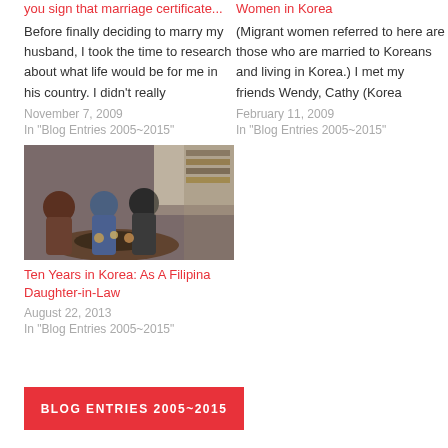you sign that marriage certificate...
Before finally deciding to marry my husband, I took the time to research about what life would be for me in his country. I didn't really
November 7, 2009
In "Blog Entries 2005~2015"
Women in Korea
(Migrant women referred to here are those who are married to Koreans and living in Korea.) I met my friends Wendy, Cathy (Korea
February 11, 2009
In "Blog Entries 2005~2015"
[Figure (photo): Group of women sitting around a table sharing a meal indoors]
Ten Years in Korea: As A Filipina Daughter-in-Law
August 22, 2013
In "Blog Entries 2005~2015"
BLOG ENTRIES 2005~2015